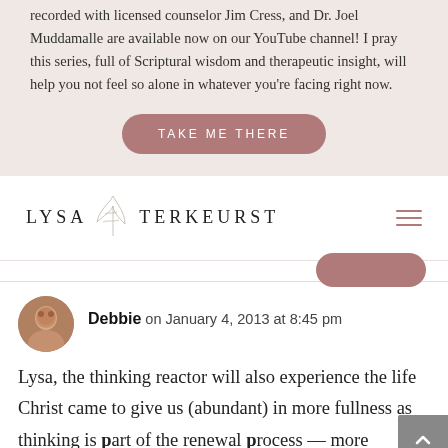recorded with licensed counselor Jim Cress, and Dr. Joel Muddamalle are available now on our YouTube channel! I pray this series, full of Scriptural wisdom and therapeutic insight, will help you not feel so alone in whatever you're facing right now.
TAKE ME THERE
[Figure (logo): Lysa TerKeurst logo with decorative leaf/branch element and hamburger menu icon]
Debbie on January 4, 2013 at 8:45 pm
Lysa, the thinking reactor will also experience the life Christ came to give us (abundant) in more fullness as thinking is part of the renewal process — more